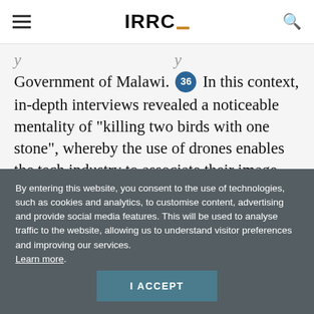IRRC
Government of Malawi. [36] In this context, in-depth interviews revealed a noticeable mentality of “killing two birds with one stone”, whereby the use of drones enables the tech industry to associate their image with humanitarian causes and to trial products on a large scale in countries where needs
By entering this website, you consent to the use of technologies, such as cookies and analytics, to customise content, advertising and provide social media features. This will be used to analyse traffic to the website, allowing us to understand visitor preferences and improving our services. Learn more.
I ACCEPT